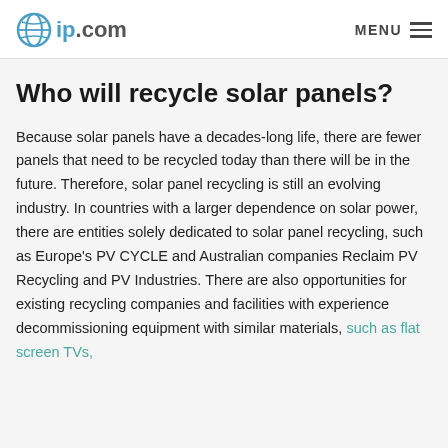ip.com  MENU
Who will recycle solar panels?
Because solar panels have a decades-long life, there are fewer panels that need to be recycled today than there will be in the future. Therefore, solar panel recycling is still an evolving industry. In countries with a larger dependence on solar power, there are entities solely dedicated to solar panel recycling, such as Europe’s PV CYCLE and Australian companies Reclaim PV Recycling and PV Industries. There are also opportunities for existing recycling companies and facilities with experience decommissioning equipment with similar materials, such as flat screen TVs,